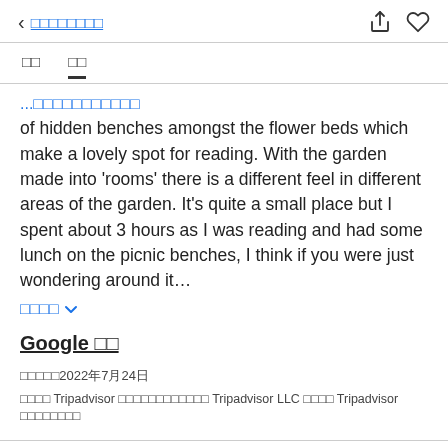< □□□□□□□□
□□   □□
...of hidden benches amongst the flower beds which make a lovely spot for reading. With the garden made into 'rooms' there is a different feel in different areas of the garden. It's quite a small place but I spent about 3 hours as I was reading and had some lunch on the picnic benches, I think if you were just wondering around it…
□□□□ ∨
Google □□
□□□□□2022年7月24日
□□□□ Tripadvisor □□□□□□□□□□□□ Tripadvisor LLC □□□□ Tripadvisor □□□□□□□□